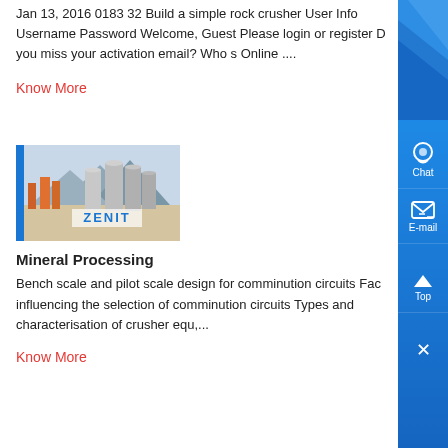Jan 13, 2016 0183 32 Build a simple rock crusher User Info Username Password Welcome, Guest Please login or register Did you miss your activation email? Who s Online ....
Know More
[Figure (photo): Zenit industrial facility with large silos and processing equipment, mountains in background. ZENIT logo visible.]
Mineral Processing
Bench scale and pilot scale design for comminution circuits Factors influencing the selection of comminution circuits Types and characterisation of crusher equ,...
Know More